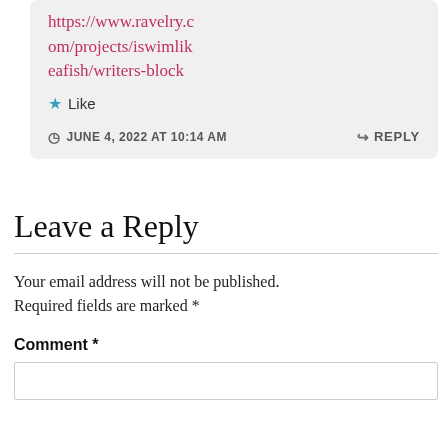https://www.ravelry.com/projects/iswimlikeafish/writers-block
★ Like
JUNE 4, 2022 AT 10:14 AM
↪ REPLY
Leave a Reply
Your email address will not be published. Required fields are marked *
Comment *